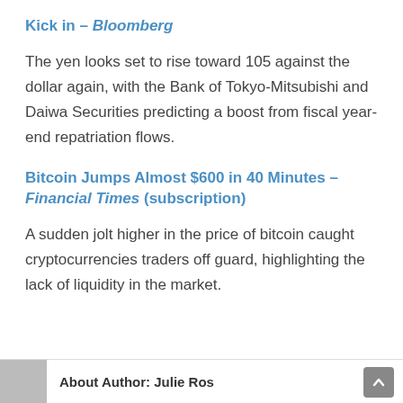Kick in – Bloomberg
The yen looks set to rise toward 105 against the dollar again, with the Bank of Tokyo-Mitsubishi and Daiwa Securities predicting a boost from fiscal year-end repatriation flows.
Bitcoin Jumps Almost $600 in 40 Minutes – Financial Times (subscription)
A sudden jolt higher in the price of bitcoin caught cryptocurrencies traders off guard, highlighting the lack of liquidity in the market.
About Author: Julie Ros